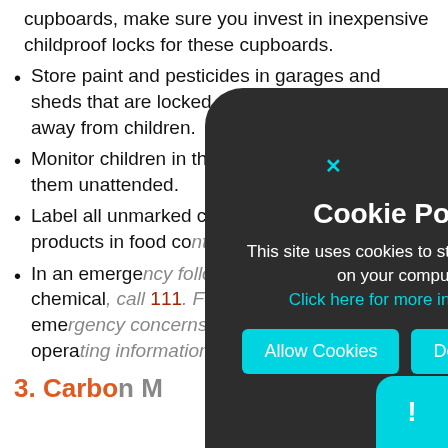cupboards, make sure you invest in inexpensive childproof locks for these cupboards.
Store paint and pesticides in garages and sheds that are locked and on high shelves away from children.
Monitor children in the kitchen and do not leave them unattended.
Label all unmarked containers and do not store products in food containers.
In an emergency following exposure to a chemical, call 111. For advice on non-emergency concerns, contact a poison operating information service.
3. Carbon M...
[Figure (screenshot): Cookie Policy overlay dialog on dark rounded background, with close X button in cyan, title 'Cookie Policy', body text 'This site uses cookies to store information on your computer. Click here for more information', two buttons: 'Allow Cookies' and 'Deny Cookies' in cyan/teal, and a teal widget with exclamation mark in bottom right corner.]